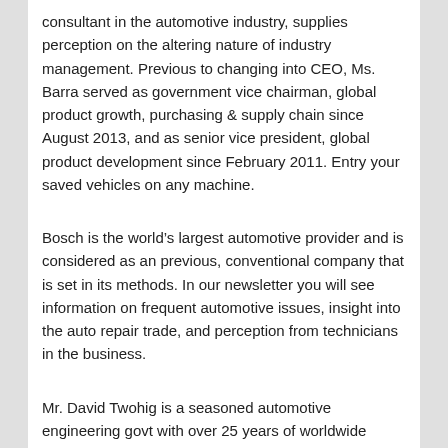consultant in the automotive industry, supplies perception on the altering nature of industry management. Previous to changing into CEO, Ms. Barra served as government vice chairman, global product growth, purchasing & supply chain since August 2013, and as senior vice president, global product development since February 2011. Entry your saved vehicles on any machine.
Bosch is the world’s largest automotive provider and is considered as an previous, conventional company that is set in its methods. In our newsletter you will see information on frequent automotive issues, insight into the auto repair trade, and perception from technicians in the business.
Mr. David Twohig is a seasoned automotive engineering govt with over 25 years of worldwide expertise in automotive design and development. December 17, 2018. Underneath Mr. Lu’s direction, in 2017, the corporate won an Automotive News TEMPO award for designing an electronic valve that can deal with carbon dioxide